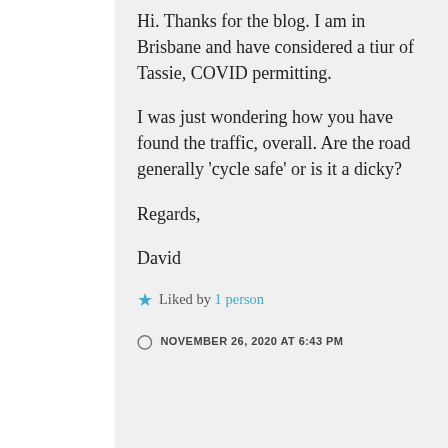Hi. Thanks for the blog. I am in Brisbane and have considered a tiur of Tassie, COVID permitting.

I was just wondering how you have found the traffic, overall. Are the road generally ‘cycle safe’ or is it a dicky?

Regards,

David
★ Liked by 1 person
NOVEMBER 26, 2020 AT 6:43 PM